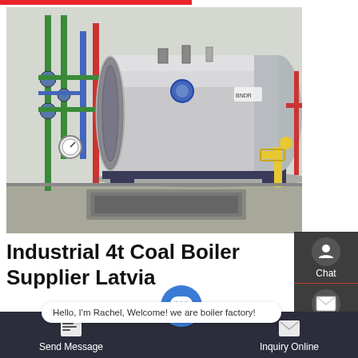[Figure (photo): Industrial natural gas boiler installed in a boiler room. A large horizontal cylindrical stainless steel boiler tank sits on a metal frame. Green, red, and blue piping runs along the walls. Yellow gas pipe connection visible at right side. Various valves and gauges attached. Concrete floor with pit.]
Industrial 4t Coal Boiler Supplier Latvia
Industrial 6t Natural Gas Atmospheric Pressure Boiler Latvia
Hello, I'm Rachel, Welcome! we are boiler factory!
Send Message    Inquiry Online